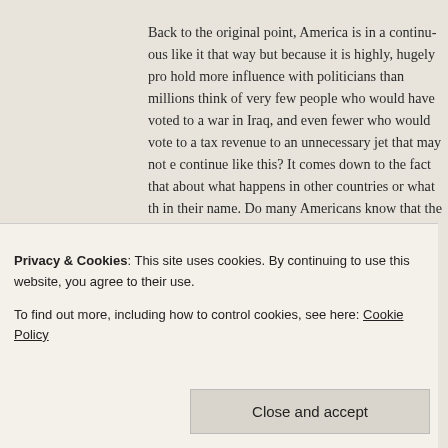Back to the original point, America is in a continu... like it that way but because it is highly, hugely pro... hold more influence with politicians than millions ... think of very few people who would have voted to... a war in Iraq, and even fewer who would vote to a... tax revenue to an unnecessary jet that may not e... continue like this? It comes down to the fact that ... about what happens in other countries or what th... in their name. Do many Americans know that the... American military bases around the world, or tha... branch of the U.S. Army that is involved in almos... politicians would like to cut “discretionary” spendi...
Privacy & Cookies: This site uses cookies. By continuing to use this website, you agree to their use.
To find out more, including how to control cookies, see here: Cookie Policy
Close and accept